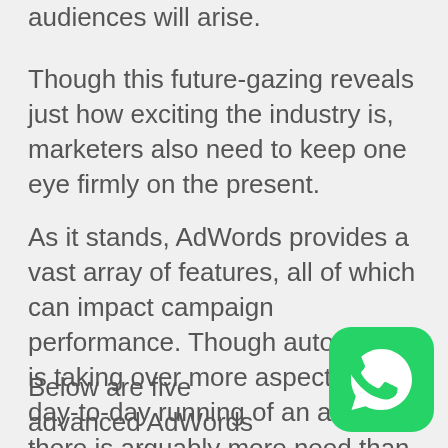audiences will arise.
Though this future-gazing reveals just how exciting the industry is, marketers also need to keep one eye firmly on the present.
As it stands, AdWords provides a vast array of features, all of which can impact campaign performance. Though automation is taking over more aspects of the day-to-day running of an account, there is arguably more need than ever before for seasoned paid search experts how know how to get the most out of the platform.
Below are five advanced AdWords features that can boost any PPC
[Figure (logo): WhatsApp logo — green rounded square with white phone handset icon inside a speech bubble]